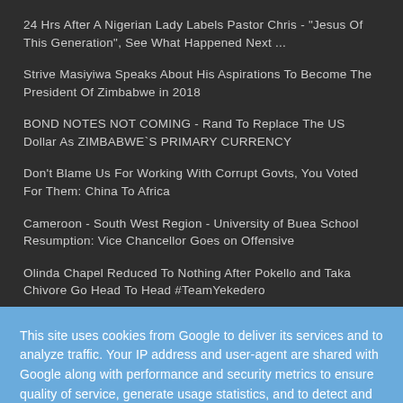24 Hrs After A Nigerian Lady Labels Pastor Chris - "Jesus Of This Generation", See What Happened Next ...
Strive Masiyiwa Speaks About His Aspirations To Become The President Of Zimbabwe in 2018
BOND NOTES NOT COMING - Rand To Replace The US Dollar As ZIMBABWE`S PRIMARY CURRENCY
Don't Blame Us For Working With Corrupt Govts, You Voted For Them: China To Africa
Cameroon - South West Region - University of Buea School Resumption: Vice Chancellor Goes on Offensive
Olinda Chapel Reduced To Nothing After Pokello and Taka Chivore Go Head To Head #TeamYekedero
This site uses cookies from Google to deliver its services and to analyze traffic. Your IP address and user-agent are shared with Google along with performance and security metrics to ensure quality of service, generate usage statistics, and to detect and address abuse.
Learn More
Ok